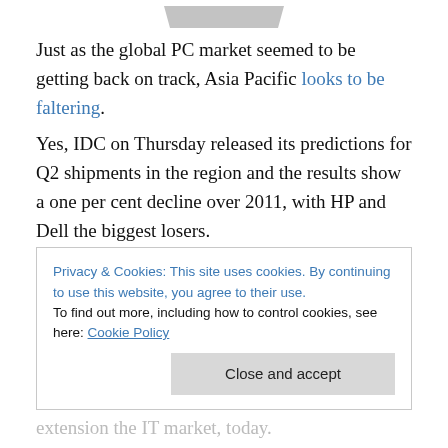[Figure (photo): Partial image at top of page, cropped]
Just as the global PC market seemed to be getting back on track, Asia Pacific looks to be faltering.
Yes, IDC on Thursday released its predictions for Q2 shipments in the region and the results show a one per cent decline over 2011, with HP and Dell the biggest losers.
The irony in all this is that IDC is blaming economic turbulence in the West as a major cause for consumers
Privacy & Cookies: This site uses cookies. By continuing to use this website, you agree to their use. To find out more, including how to control cookies, see here: Cookie Policy
Close and accept
extension the IT market, today.